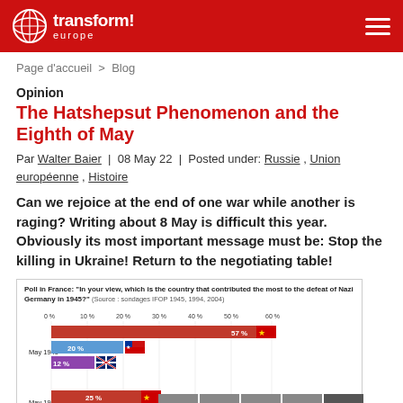transform! europe
Page d'accueil > Blog
Opinion
The Hatshepsut Phenomenon and the Eighth of May
Par Walter Baier | 08 May 22 | Posted under: Russie , Union européenne , Histoire
Can we rejoice at the end of one war while another is raging? Writing about 8 May is difficult this year. Obviously its most important message must be: Stop the killing in Ukraine! Return to the negotiating table!
[Figure (bar-chart): Poll in France: "In your view, which is the country that contributed the most to the defeat of Nazi Germany in 1945?" (Source: sondages IFOP 1945, 1994, 2004)]